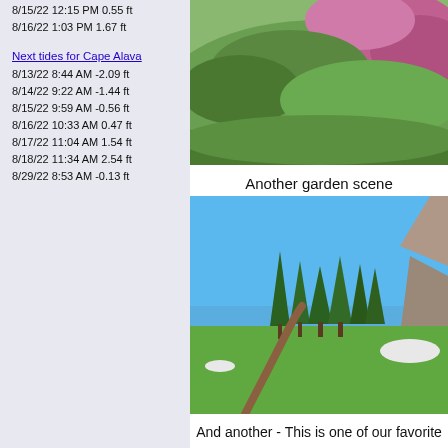8/15/22 12:15 PM 0.55 ft
8/16/22 1:03 PM 1.67 ft
Next tides for Cape Alava
8/13/22 8:44 AM -2.09 ft
8/14/22 9:22 AM -1.44 ft
8/15/22 9:59 AM -0.56 ft
8/16/22 10:33 AM 0.47 ft
8/17/22 11:04 AM 1.54 ft
8/18/22 11:34 AM 2.54 ft
8/29/22 8:53 AM -0.13 ft
[Figure (photo): Hillside garden scene with pink/purple flowering plants and green vegetation]
Another garden scene
[Figure (photo): Trail through alpine meadow with evergreen trees and blue sky, mountain visible in background]
And another - This is one of our favorite p... hike when we have the strength to ge...